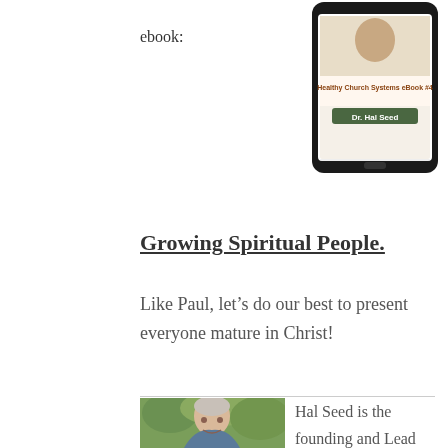ebook:
[Figure (illustration): Tablet device displaying a book cover for 'Healthy Church Systems eBook #4' by Dr. Hal Seed]
Growing Spiritual People.
Like Paul, let's do our best to present everyone mature in Christ!
[Figure (photo): Outdoor photo of an older man with grey hair smiling, green foliage background — author Hal Seed]
Hal Seed is the founding and Lead